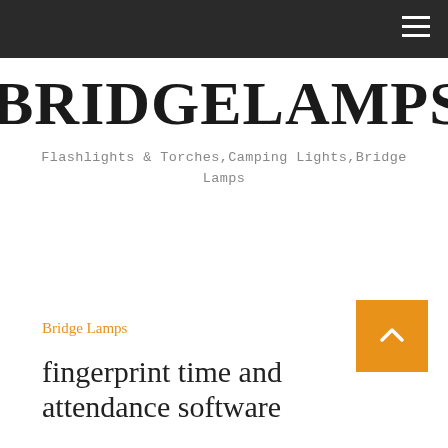BRIDGELAMPS.COM
BRIDGELAMPS.COM
Flashlights & Torches,Camping Lights,Bridge Lamps
Bridge Lamps
fingerprint time and attendance software